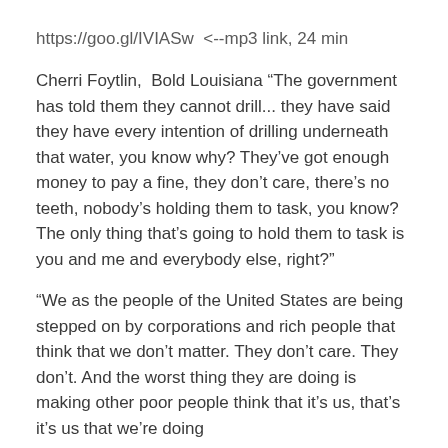https://goo.gl/IVIASw  <--mp3 link, 24 min
Cherri Foytlin,  Bold Louisiana “The government has told them they cannot drill... they have said they have every intention of drilling underneath that water, you know why? They’ve got enough money to pay a fine, they don’t care, there’s no teeth, nobody’s holding them to task, you know? The only thing that’s going to hold them to task is you and me and everybody else, right?”
“We as the people of the United States are being stepped on by corporations and rich people that think that we don’t matter. They don’t care. They don’t. And the worst thing they are doing is making other poor people think that it’s us, that’s it’s us that we’re doing